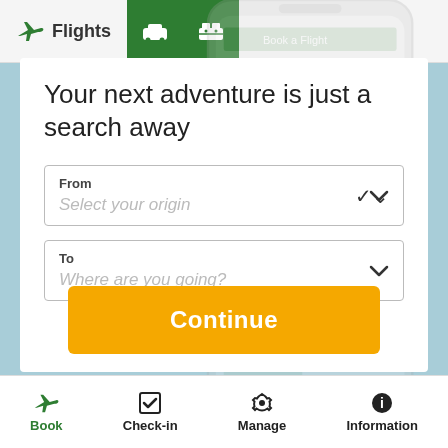[Figure (screenshot): Mobile app UI screenshot showing a flight booking interface with navigation tabs (Flights, Car, Hotel), a headline 'Your next adventure is just a search away', From and To input fields with dropdown chevrons, a Continue button, and bottom navigation with Book, Check-in, Manage, Information tabs. A semi-transparent phone mockup overlays the background.]